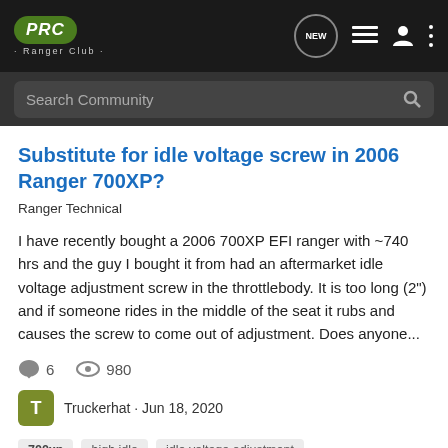PRC Ranger Club
Search Community
Substitute for idle voltage screw in 2006 Ranger 700XP?
Ranger Technical
I have recently bought a 2006 700XP EFI ranger with ~740 hrs and the guy I bought it from had an aftermarket idle voltage adjustment screw in the throttlebody. It is too long (2") and if someone rides in the middle of the seat it rubs and causes the screw to come out of adjustment. Does anyone...
6 comments · 980 views
Truckerhat · Jun 18, 2020
700xp · high idle · idle voltage adjustment